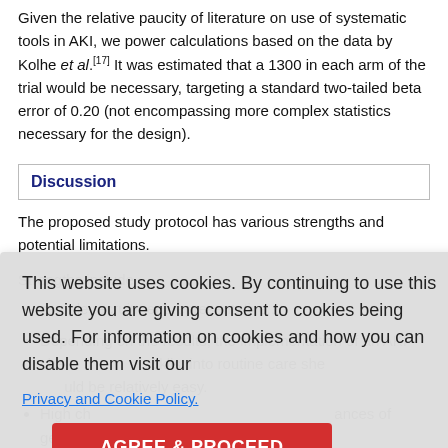Given the relative paucity of literature on use of systematic tools in AKI, we performed power calculations based on the data by Kolhe et al.[17] It was estimated that a sample of 1300 in each arm of the trial would be necessary, targeting a standard two-tailed beta error of 0.20 (not encompassing more complex statistics necessary for the design).
Discussion
The proposed study protocol has various strengths and potential limitations.
Cookie notice overlay: This website uses cookies. By continuing to use this website you are giving consent to cookies being used. For information on cookies and how you can disable them visit our Privacy and Cookie Policy. AGREE & PROCEED
Depending on the results, the implementation of an AKI checklist into routine care should be relatively easy.
High chances of generalisability to other countries with comparable arrangements.